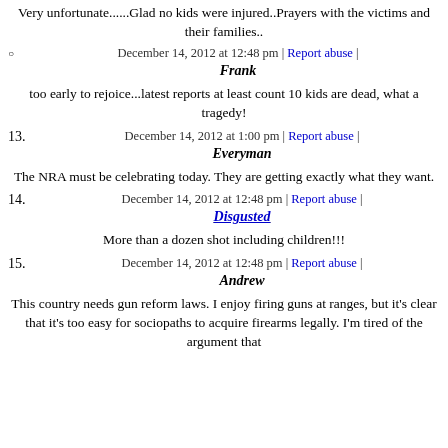Very unfortunate......Glad no kids were injured..Prayers with the victims and their families..
December 14, 2012 at 12:48 pm | Report abuse |
Frank
too early to rejoice...latest reports at least count 10 kids are dead, what a tragedy!
13. December 14, 2012 at 1:00 pm | Report abuse | Everyman
The NRA must be celebrating today. They are getting exactly what they want.
14. December 14, 2012 at 12:48 pm | Report abuse | Disgusted
More than a dozen shot including children!!!
15. December 14, 2012 at 12:48 pm | Report abuse | Andrew
This country needs gun reform laws. I enjoy firing guns at ranges, but it's clear that it's too easy for sociopaths to acquire firearms legally. I'm tired of the argument that